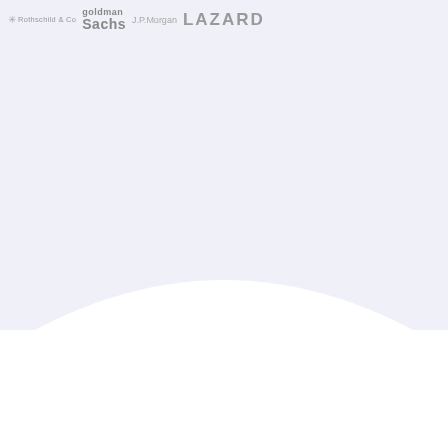[Figure (logo): Financial institution logos: Rothschild & Co, Goldman Sachs, J.P.Morgan, LAZARD arranged in a row at the top of the page on a light lavender/grey background with a curved white shape at the bottom]